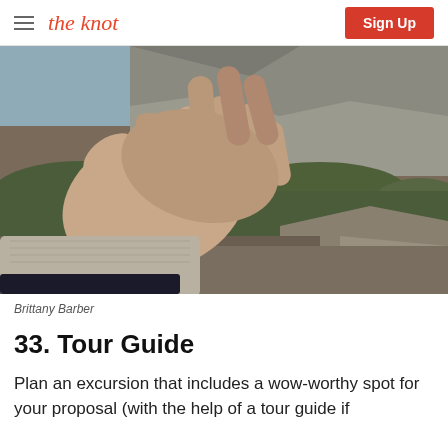the knot | Sign Up
[Figure (photo): Close-up of two people holding hands on a mountain hiking trail with rocky cliffs and green shrubs in the background]
Brittany Barber
33. Tour Guide
Plan an excursion that includes a wow-worthy spot for your proposal (with the help of a tour guide if